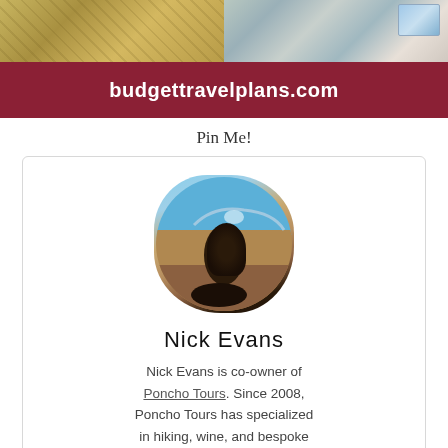[Figure (photo): Two side-by-side travel photos at the top of the page: left shows an arid landscape with golden/brown tones, right shows a colorful wall or market scene with teal and light tones.]
budgettravelplans.com
Pin Me!
[Figure (photo): Author photo of Nick Evans, a man sitting cross-legged on a high-altitude desert landscape with mountains and blue sky in the background. The photo has an organic irregular rounded shape.]
Nick Evans
Nick Evans is co-owner of Poncho Tours. Since 2008, Poncho Tours has specialized in hiking, wine, and bespoke tours throughout Argentina, Bolivia, and Chile. He is